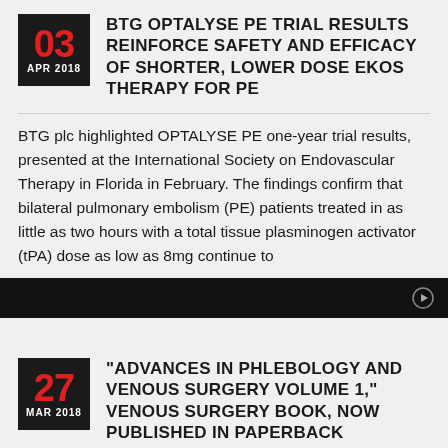BTG OPTALYSE PE TRIAL RESULTS REINFORCE SAFETY AND EFFICACY OF SHORTER, LOWER DOSE EKOS THERAPY FOR PE
BTG plc highlighted OPTALYSE PE one-year trial results, presented at the International Society on Endovascular Therapy in Florida in February. The findings confirm that bilateral pulmonary embolism (PE) patients treated in as little as two hours with a total tissue plasminogen activator (tPA) dose as low as 8mg continue to
“ADVANCES IN PHLEBOLOGY AND VENOUS SURGERY VOLUME 1,” VENOUS SURGERY BOOK, NOW PUBLISHED IN PAPERBACK